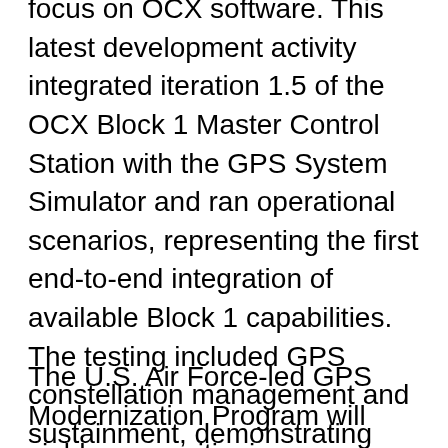focus on OCX software. This latest development activity integrated iteration 1.5 of the OCX Block 1 Master Control Station with the GPS System Simulator and ran operational scenarios, representing the first end-to-end integration of available Block 1 capabilities. The testing included GPS constellation management and sustainment, demonstrating OCX's abilities for precision navigation and timing capabilities in a fully cyber-hardened environment. The test included running Kalman filters and generating GPS satellite navigation uploads. The completion of the Risk Reduction functional checkout informs and benefits future OCX development efforts. Future development will add to the existing capability and expand capability to include both the civil and military modernized signals.
The U.S. Air Force-led GPS Modernization Program will yield new positioning, navigation and timing capabilities for both the U.S. military and civilian users across the globe.